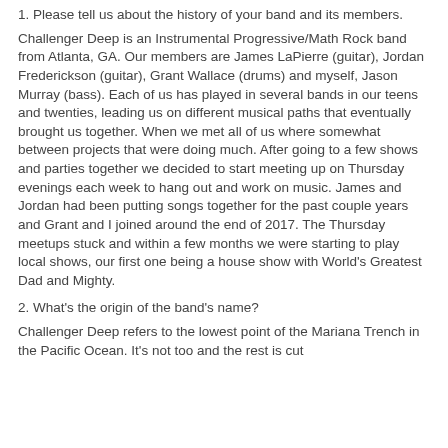1. Please tell us about the history of your band and its members.
Challenger Deep is an Instrumental Progressive/Math Rock band from Atlanta, GA. Our members are James LaPierre (guitar), Jordan Frederickson (guitar), Grant Wallace (drums) and myself, Jason Murray (bass). Each of us has played in several bands in our teens and twenties, leading us on different musical paths that eventually brought us together. When we met all of us where somewhat between projects that were doing much. After going to a few shows and parties together we decided to start meeting up on Thursday evenings each week to hang out and work on music. James and Jordan had been putting songs together for the past couple years and Grant and I joined around the end of 2017. The Thursday meetups stuck and within a few months we were starting to play local shows, our first one being a house show with World's Greatest Dad and Mighty.
2. What's the origin of the band's name?
Challenger Deep refers to the lowest point of the Mariana Trench in the Pacific Ocean. It's not too and the rest is cut off.